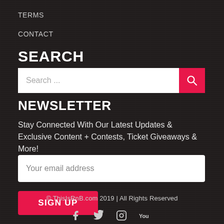TERMS
CONTACT
SEARCH
Search ...
NEWSLETTER
Stay Connected With Our Latest Updates & Exclusive Content + Contests, Ticket Giveaways & More!
Your email address
SIGN UP
© ThisIsRnB.com 2019 | All Rights Reserved